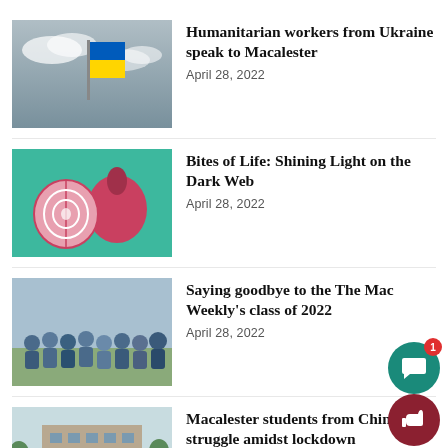[Figure (photo): Ukraine flag against cloudy sky]
Humanitarian workers from Ukraine speak to Macalester
April 28, 2022
[Figure (illustration): Onion sliced in half on green background]
Bites of Life: Shining Light on the Dark Web
April 28, 2022
[Figure (photo): Group photo of students]
Saying goodbye to the The Mac Weekly's class of 2022
April 28, 2022
[Figure (photo): Macalester campus building with lawn]
Macalester students from China struggle amidst lockdown
April 28, 2022
[Figure (logo): The Mac Weekly TMW logo in blue]
Macalester hosts ninth annual critical theory symposium
April 28, 2022